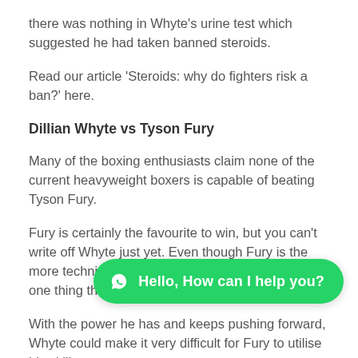there was nothing in Whyte's urine test which suggested he had taken banned steroids.
Read our article 'Steroids: why do fighters risk a ban?' here.
Dillian Whyte vs Tyson Fury
Many of the boxing enthusiasts claim none of the current heavyweight boxers is capable of beating Tyson Fury.
Fury is certainly the favourite to win, but you can't write off Whyte just yet. Even though Fury is the more technical, faster and slicker mover, there is one thing they say in boxing is 'styles make fights.
With the power he has and keeps pushing forward, Whyte could make it very difficult for Fury to utilise his skills.
Furthermore, Whyte has claimed to have dropped Fury sparring years back. "They know about me – well, me and
[Figure (other): WhatsApp chat button: green pill-shaped button with WhatsApp icon and text 'Hello, How can I help you?']